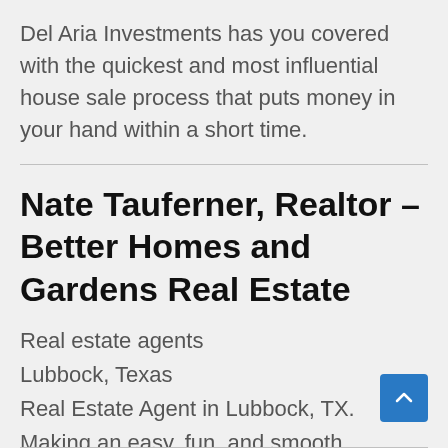Del Aria Investments has you covered with the quickest and most influential house sale process that puts money in your hand within a short time.
Nate Tauferner, Realtor – Better Homes and Gardens Real Estate
Real estate agents
Lubbock, Texas
Real Estate Agent in Lubbock, TX. Making an easy, fun, and smooth experience for home buyers and sellers!